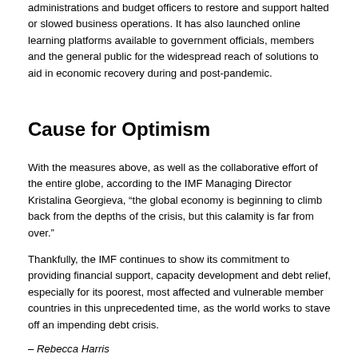administrations and budget officers to restore and support halted or slowed business operations. It has also launched online learning platforms available to government officials, members and the general public for the widespread reach of solutions to aid in economic recovery during and post-pandemic.
Cause for Optimism
With the measures above, as well as the collaborative effort of the entire globe, according to the IMF Managing Director Kristalina Georgieva, “the global economy is beginning to climb back from the depths of the crisis, but this calamity is far from over.”
Thankfully, the IMF continues to show its commitment to providing financial support, capacity development and debt relief, especially for its poorest, most affected and vulnerable member countries in this unprecedented time, as the world works to stave off an impending debt crisis.
– Rebecca Harris